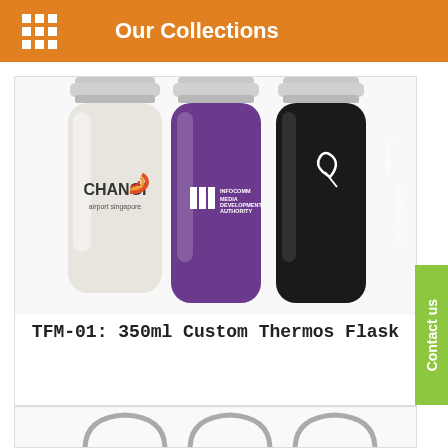Our Collections
[Figure (photo): Three 350ml custom thermos flasks side by side: a white/cream flask with Changi Airport Singapore logo, a purple flask with IIM Infocomm Media Development Authority logo, and a black flask with Land Transport Authority logo. Silver caps visible at top.]
TFM-01: 350ml Custom Thermos Flask
[Figure (photo): Partial view of the bottom of the page showing the tops/handles of more thermos flask products in a second product card.]